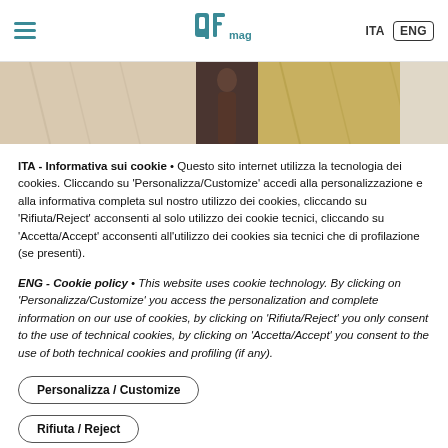qfmag — ITA / ENG
[Figure (photo): Partial view of fashion/textile imagery showing draped fabric in beige and gold tones]
ITA - Informativa sui cookie • Questo sito internet utilizza la tecnologia dei cookies. Cliccando su 'Personalizza/Customize' accedi alla personalizzazione e alla informativa completa sul nostro utilizzo dei cookies, cliccando su 'Rifiuta/Reject' acconsenti al solo utilizzo dei cookie tecnici, cliccando su 'Accetta/Accept' acconsenti all'utilizzo dei cookies sia tecnici che di profilazione (se presenti).
ENG - Cookie policy • This website uses cookie technology. By clicking on 'Personalizza/Customize' you access the personalization and complete information on our use of cookies, by clicking on 'Rifiuta/Reject' you only consent to the use of technical cookies, by clicking on 'Accetta/Accept' you consent to the use of both technical cookies and profiling (if any).
Personalizza / Customize
Rifiuta / Reject
Accetta / Accept